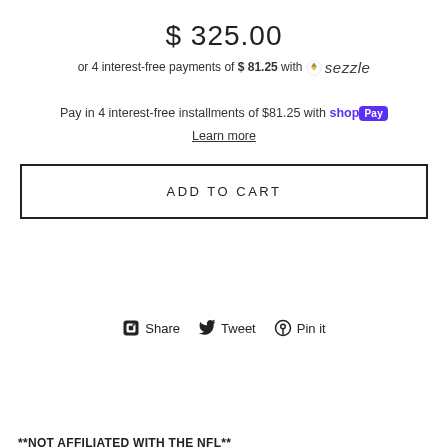$ 325.00
or 4 interest-free payments of $ 81.25 with Sezzle
Pay in 4 interest-free installments of $81.25 with shop Pay
Learn more
ADD TO CART
Share  Tweet  Pin it
**NOT AFFILIATED WITH THE NFL**